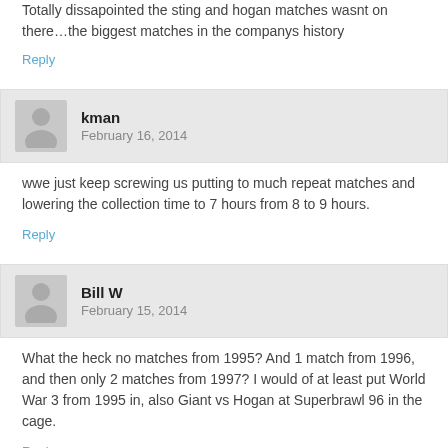Totally dissapointed the sting and hogan matches wasnt on there…the biggest matches in the companys history
Reply
kman
February 16, 2014
wwe just keep screwing us putting to much repeat matches and lowering the collection time to 7 hours from 8 to 9 hours.
Reply
Bill W
February 15, 2014
What the heck no matches from 1995? And 1 match from 1996, and then only 2 matches from 1997? I would of at least put World War 3 from 1995 in, also Giant vs Hogan at Superbrawl 96 in the cage.
Reply